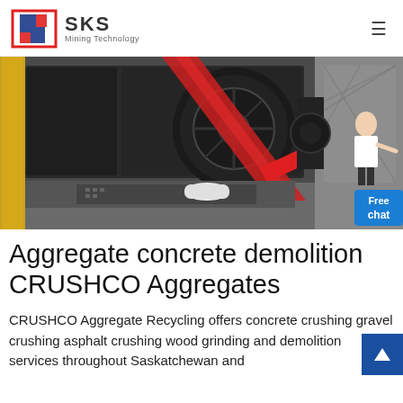SKS Mining Technology
[Figure (photo): Industrial crusher/mining machine with red belt drive components in a factory setting]
Aggregate concrete demolition CRUSHCO Aggregates
CRUSHCO Aggregate Recycling offers concrete crushing gravel crushing asphalt crushing wood grinding and demolition services throughout Saskatchewan and